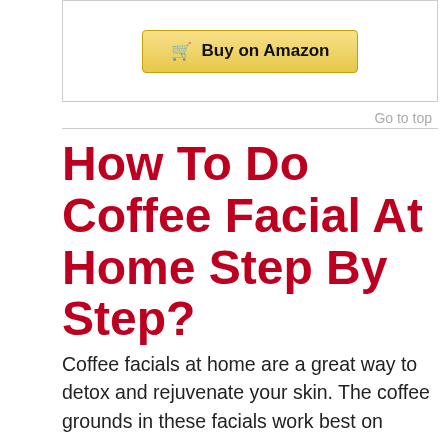[Figure (other): Buy on Amazon button in a bordered box]
Go to top
How To Do Coffee Facial At Home Step By Step?
Coffee facials at home are a great way to detox and rejuvenate your skin. The coffee grounds in these facials work best on
[Figure (infographic): Orange advertisement banner: Help send medical aid to Ukraine >> with Direct Relief logo]